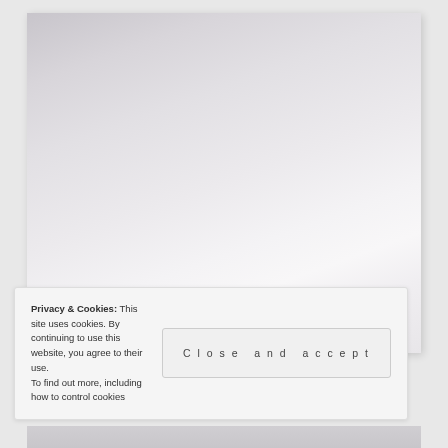[Figure (photo): Large light grey gradient image area, fading from darker grey at top-left to lighter/near-white in center, with slight darker tone at bottom edges]
Privacy & Cookies: This site uses cookies. By continuing to use this website, you agree to their use.
To find out more, including how to control cookies
Close and accept